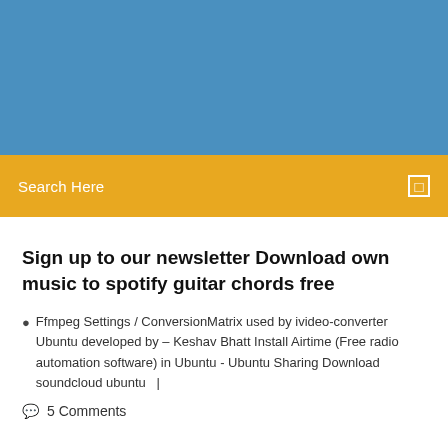[Figure (other): Blue header banner background]
Search Here
Sign up to our newsletter Download own music to spotify guitar chords free
Ffmpeg Settings / ConversionMatrix used by ivideo-converter Ubuntu developed by – Keshav Bhatt Install Airtime (Free radio automation software) in Ubuntu - Ubuntu Sharing Download soundcloud ubuntu  |
5 Comments